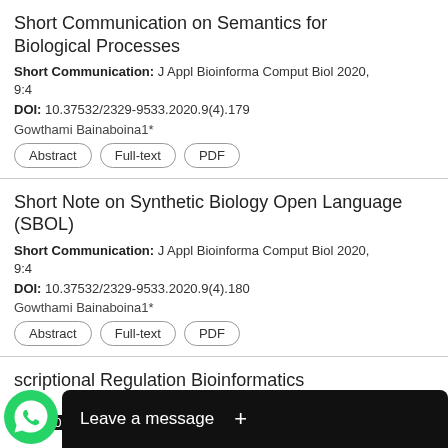Short Communication on Semantics for Biological Processes
Short Communication: J Appl Bioinforma Comput Biol 2020, 9:4
DOI: 10.37532/2329-9533.2020.9(4).179
Gowthami Bainaboina1*
Abstract | Full-text | PDF
Short Note on Synthetic Biology Open Language (SBOL)
Short Communication: J Appl Bioinforma Comput Biol 2020, 9:4
DOI: 10.37532/2329-9533.2020.9(4).180
Gowthami Bainaboina1*
Abstract | Full-text | PDF
...scriptional Regulation Bioinformatics
Pers... ...out Biol 2020, 9:6
DOI: 10.37532/2329-9533.2020.9(6).190
[Figure (screenshot): WhatsApp 'Leave a message' overlay button at bottom of screen]